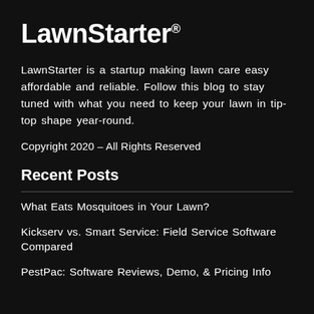LawnStarter®
LawnStarter is a startup making lawn care easy affordable and reliable. Follow this blog to stay tuned with what you need to keep your lawn in tip-top shape year-round.
Copyright 2020 – All Rights Reserved
Recent Posts
What Eats Mosquitoes in Your Lawn?
Kickserv vs. Smart Service: Field Service Software Compared
PestPac: Software Reviews, Demo, & Pricing Info